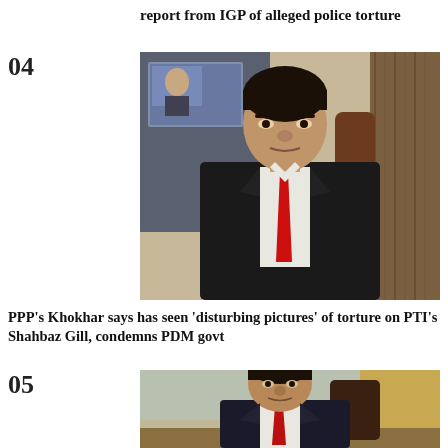report from IGP of alleged police torture
[Figure (photo): Man in black suit and red tie seated, appears to be in an office or TV studio setting]
PPP's Khokhar says has seen 'disturbing pictures' of torture on PTI's Shahbaz Gill, condemns PDM govt
[Figure (photo): Older man in dark suit and red tie seated at a desk]